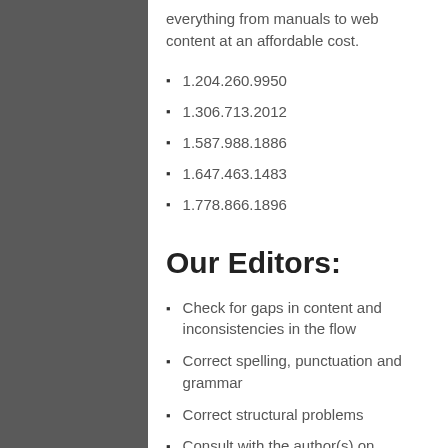everything from manuals to web content at an affordable cost.
1.204.260.9950
1.306.713.2012
1.587.988.1886
1.647.463.1483
1.778.866.1896
Our Editors:
Check for gaps in content and inconsistencies in the flow
Correct spelling, punctuation and grammar
Correct structural problems
Consult with the author(s) on content, structure and style